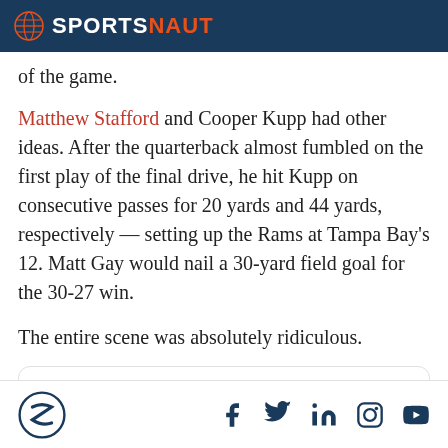SPORTSNAUT
of the game.
Matthew Stafford and Cooper Kupp had other ideas. After the quarterback almost fumbled on the first play of the final drive, he hit Kupp on consecutive passes for 20 yards and 44 yards, respectively — setting up the Rams at Tampa Bay's 12. Matt Gay would nail a 30-yard field goal for the 30-27 win.
The entire scene was absolutely ridiculous.
[Figure (screenshot): Embedded tweet from NFL (@NFL) with verified badge and Follow link, Twitter bird icon top right, NFL shield logo on left.]
Sportsnaut logo and social media icons: Facebook, Twitter, LinkedIn, Instagram, YouTube